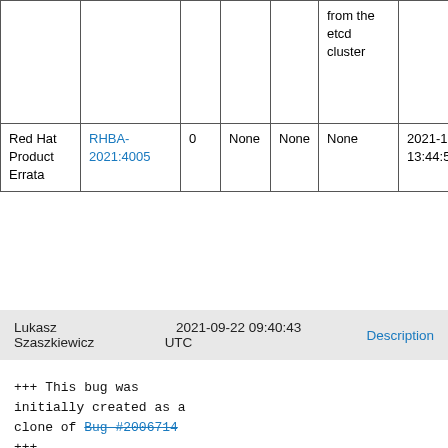|  |  |  |  |  | from the etcd cluster |  |
| Red Hat Product Errata | RHBA-2021:4005 | 0 | None | None | None | 2021-11-01 13:44:50 UTC |
Lukasz Szaszkiewicz   2021-09-22 09:40:43 UTC   Description
+++ This bug was initially created as a clone of Bug #2006714 +++

The etcd client used by the API server should retry certain types of errors. The full list of retriable (codes.Unavailable) errors can be found at https://github.com/etcd-io/etcd/blob/main/api/v3rpc/rpctypes/error.go#L72.
This is already